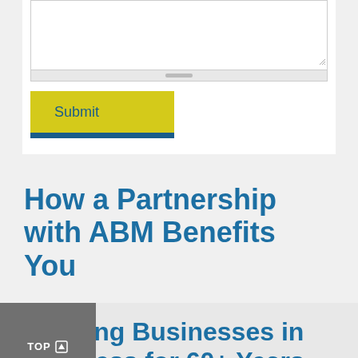[Figure (screenshot): A textarea form input with a scrollbar at the bottom and a resize handle at bottom-right corner]
[Figure (screenshot): A yellow Submit button with a dark blue bottom bar accent and blue text]
How a Partnership with ABM Benefits You
Keeping Businesses in Business for 60+ Years
Allen Business Machines specializes in keeping your business in business. For more than 60